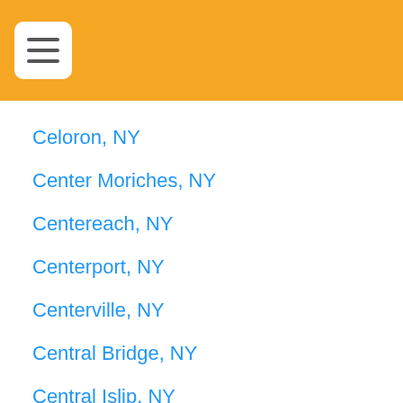Navigation menu header bar with hamburger icon
Celoron, NY
Center Moriches, NY
Centereach, NY
Centerport, NY
Centerville, NY
Central Bridge, NY
Central Islip, NY
Central Square, NY
[Figure (illustration): Red circular chat/messaging button with speech bubble icon in bottom-right area]